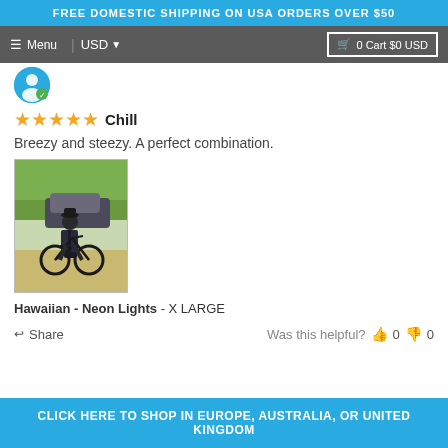FREE DOMESTIC SHIPPING ON USA ORDERS OVER $50
Menu  USD  0 Cart $0 USD
[Figure (photo): Small circular user avatar icon in blue]
★★★★★  Chill
Breezy and steezy. A perfect combination.
[Figure (photo): Person with a mountain bike standing outdoors with green hedges and a car in background]
Hawaiian - Neon Lights - X LARGE
Share  Was this helpful?  👍 0  👎 0
CLICK HERE TO SHOP IN EUROPE, AUSTRALIA, OR UNITED KINGDOM